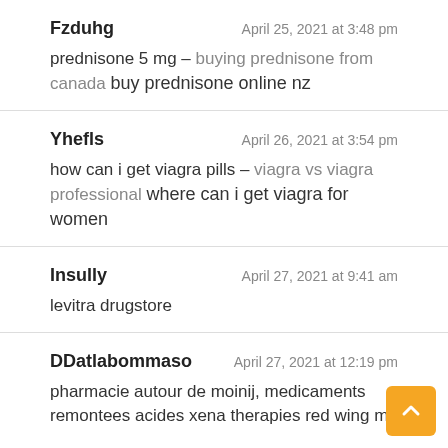Fzduhg — April 25, 2021 at 3:48 pm — prednisone 5 mg – buying prednisone from canada buy prednisone online nz
Yhefls — April 26, 2021 at 3:54 pm — how can i get viagra pills – viagra vs viagra professional where can i get viagra for women
Insully — April 27, 2021 at 9:41 am — levitra drugstore
DDatlabommaso — April 27, 2021 at 12:19 pm — pharmacie autour de moinij, medicaments remontees acides xena therapies red wing mn